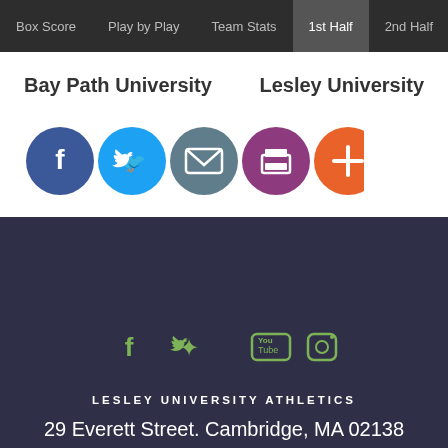Box Score | Play by Play | Team Stats | 1st Half | 2nd Half | Co
Bay Path University
Lesley University
[Figure (infographic): Row of five social media sharing icons: Facebook (blue circle), Twitter (light blue circle), Email (grey circle), Print (purple circle), Add/Plus (orange circle)]
[Figure (infographic): Footer social media icons: Facebook, Twitter, YouTube, Instagram — all in green on dark navy background]
LESLEY UNIVERSITY ATHLETICS
29 Everett Street. Cambridge, MA 02138